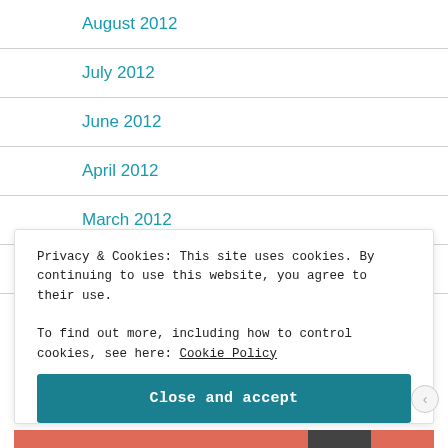August 2012
July 2012
June 2012
April 2012
March 2012
February 2012
Privacy & Cookies: This site uses cookies. By continuing to use this website, you agree to their use.
To find out more, including how to control cookies, see here: Cookie Policy
Close and accept